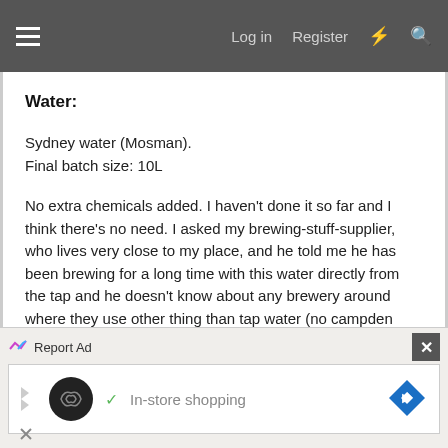Log in  Register
Water:
Sydney water (Mosman).
Final batch size: 10L
No extra chemicals added. I haven't done it so far and I think there's no need. I asked my brewing-stuff-supplier, who lives very close to my place, and he told me he has been brewing for a long time with this water directly from the tap and he doesn't know about any brewery around where they use other thing than tap water (no campden tablets, metabisulfites or anything).
Report Ad  In-store shopping